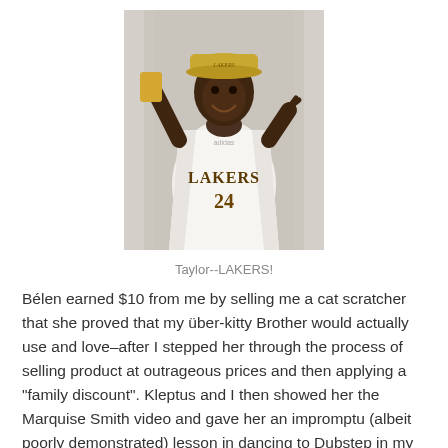[Figure (photo): A person wearing a Lakers #24 jersey and cap, taking a selfie while holding a phone and making a hand gesture.]
Taylor--LAKERS!
Bélen earned $10 from me by selling me a cat scratcher that she proved that my über-kitty Brother would actually use and love–after I stepped her through the process of selling product at outrageous prices and then applying a “family discount”. Kleptus and I then showed her the Marquise Smith video and gave her an impromptu (albeit poorly demonstrated) lesson in dancing to Dubstep in my living room.